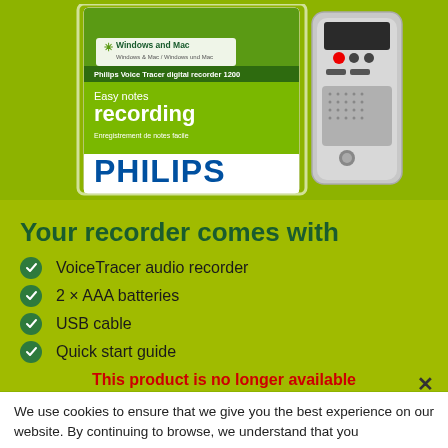[Figure (photo): Philips Voice Tracer digital recorder 1200 product box and device. The box is white and green showing 'Windows and Mac', 'Easy notes recording', 'Philips Voice Tracer digital recorder 1200', and the PHILIPS logo in blue. A silver handheld digital recorder device is shown next to the box.]
Your recorder comes with
VoiceTracer audio recorder
2 × AAA batteries
USB cable
Quick start guide
This product is no longer available
We use cookies to ensure that we give you the best experience on our website. By continuing to browse, we understand that you